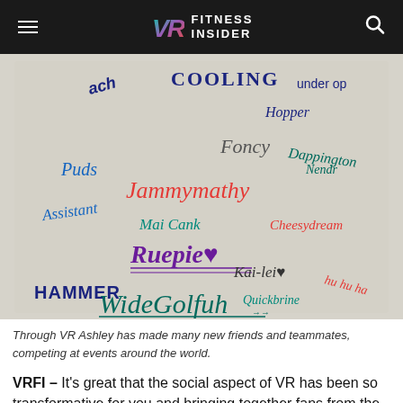VR FITNESS INSIDER
[Figure (photo): A white t-shirt or fabric covered with handwritten signatures and nicknames in various colors including: COOLING, Hopper, Foncy, Jammymathy, Dappington/Nendr, Puds, Assistant, Mai Cank, Cheesydream, Ruepie (with heart), Kai-lei (with heart), HAMMER, WideGolfuh, Quickbrine, hu hu ha]
Through VR Ashley has made many new friends and teammates, competing at events around the world.
VRFI – It's great that the social aspect of VR has been so transformative for you and bringing together fans from the world.